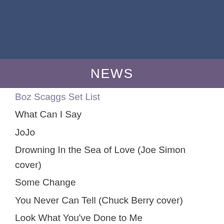[Figure (photo): Dark blue header background area]
NEWS
Boz Scaggs Set List
What Can I Say
JoJo
Drowning In the Sea of Love (Joe Simon cover)
Some Change
You Never Can Tell (Chuck Berry cover)
Look What You've Done to Me
Cadillac Walk (Mink DeVille cover)
Georgia
Lowdown
Lido Shuffle
It's Over
Loan Me a Dime